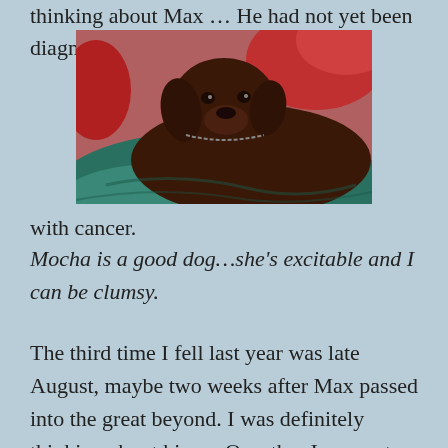thinking about Max … He had not yet been diagnosed
[Figure (photo): A chocolate Labrador dog lying on teal/green blankets with red cushions in the background, wearing a chain collar, looking at the camera.]
with cancer.
Mocha is a good dog…she's excitable and I can be clumsy.
The third time I fell last year was late August, maybe two weeks after Max passed into the great beyond. I was definitely thinking about him… Or rather I was not